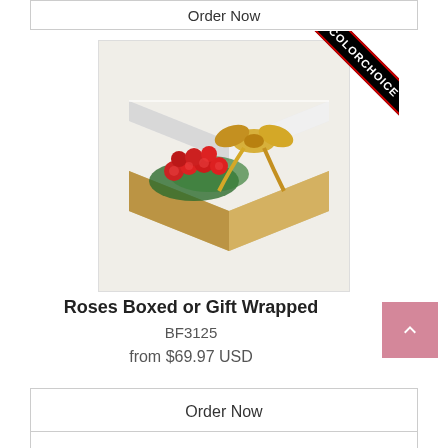Order Now
[Figure (photo): Roses in a gold and white gift box with a gold ribbon bow, partially open showing red roses inside. A 'COLORCHOICE' diagonal ribbon badge is on the top right corner.]
Roses Boxed or Gift Wrapped
BF3125
from $69.97 USD
Order Now